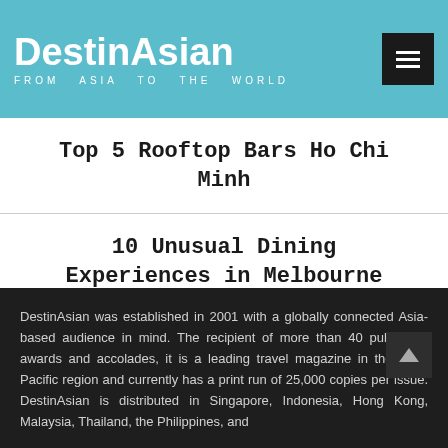DestinAsian — FROM ASIA TO THE WORLD
Top 5 Rooftop Bars Ho Chi Minh
10 Unusual Dining Experiences in Melbourne
Don't Leave Hokkaido Without Eating These
DestinAsian was established in 2001 with a globally connected Asia-based audience in mind. The recipient of more than 40 publishing awards and accolades, it is a leading travel magazine in the Asia-Pacific region and currently has a print run of 25,000 copies per issue. DestinAsian is distributed in Singapore, Indonesia, Hong Kong, Malaysia, Thailand, the Philippines, and